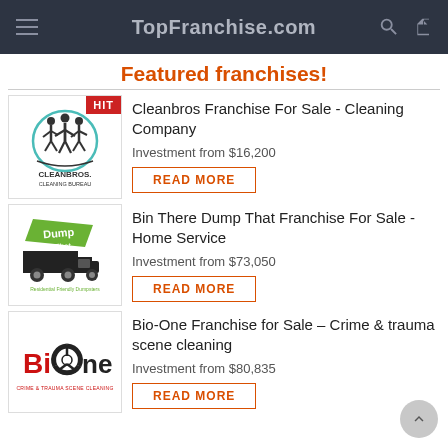TopFranchise.com
Featured franchises!
[Figure (logo): Cleanbros Cleaning Bureau logo — two figures with mop and bucket in a circle, text CLEANBROS CLEANING BUREAU below]
Cleanbros Franchise For Sale - Cleaning Company
Investment from $16,200
[Figure (logo): Bin There Dump That logo — silhouette of a dump truck with green Dump That banner, text Residential Friendly Dumpsters below]
Bin There Dump That Franchise For Sale - Home Service
Investment from $73,050
[Figure (logo): Bio-One logo — red Bi text, biohazard symbol, One text, CRIME & TRAUMA SCENE CLEANING below]
Bio-One Franchise for Sale – Crime & trauma scene cleaning
Investment from $80,835